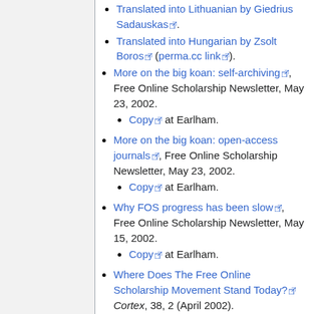Translated into Lithuanian by Giedrius Sadauskas.
Translated into Hungarian by Zsolt Boros (perma.cc link).
More on the big koan: self-archiving, Free Online Scholarship Newsletter, May 23, 2002.
Copy at Earlham.
More on the big koan: open-access journals, Free Online Scholarship Newsletter, May 23, 2002.
Copy at Earlham.
Why FOS progress has been slow, Free Online Scholarship Newsletter, May 15, 2002.
Copy at Earlham.
Where Does The Free Online Scholarship Movement Stand Today? Cortex, 38, 2 (April 2002).